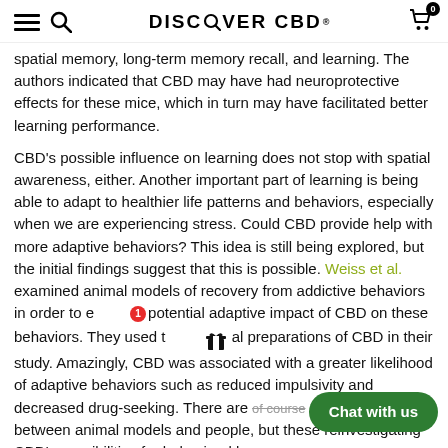DISCOVER CBD
spatial memory, long-term memory recall, and learning. The authors indicated that CBD may have had neuroprotective effects for these mice, which in turn may have facilitated better learning performance.
CBD's possible influence on learning does not stop with spatial awareness, either. Another important part of learning is being able to adapt to healthier life patterns and behaviors, especially when we are experiencing stress. Could CBD provide help with more adaptive behaviors? This idea is still being explored, but the initial findings suggest that this is possible. Weiss et al. examined animal models of recovery from addictive behaviors in order to explore the potential adaptive impact of CBD on these behaviors. They used topical preparations of CBD in their study. Amazingly, CBD was associated with a greater likelihood of adaptive behaviors such as reduced impulsivity and decreased drug-seeking. There are, of course, differences between animal models and people, but these results are worth investigating CBD's possibilities for behavioral lea...